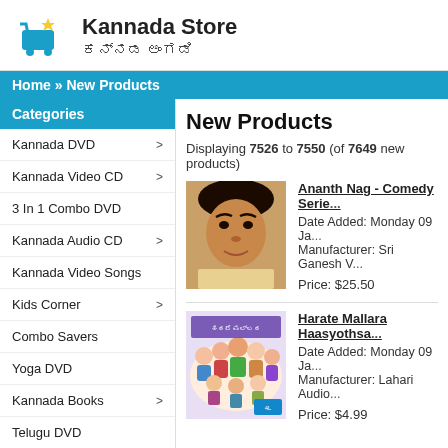[Figure (logo): Kannada Store logo with shopping cart icon and text 'Kannada Store' in English and Kannada script]
Home » New Products
Categories
Kannada DVD >
Kannada Video CD >
3 In 1 Combo DVD
Kannada Audio CD >
Kannada Video Songs
Kids Corner >
Combo Savers
Yoga DVD
Kannada Books >
Telugu DVD
New Products
Displaying 7526 to 7550 (of 7649 new products)
[Figure (photo): Photo of Ananth Nag, a man with dark hair]
Ananth Nag - Comedy Serie...
Date Added: Monday 09 Ja...
Manufacturer: Sri Ganesh V...
Price: $25.50
[Figure (illustration): Harate Mallara Haasyothsa... album cover with cartoon characters]
Harate Mallara Haasyothsa...
Date Added: Monday 09 Ja...
Manufacturer: Lahari Audio...
Price: $4.99